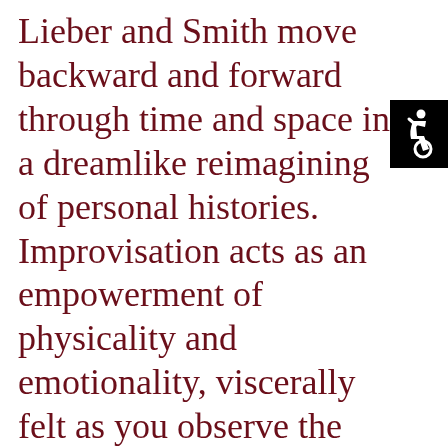Lieber and Smith move backward and forward through time and space in a dreamlike reimagining of personal histories. Improvisation acts as an empowerment of physicality and emotionality, viscerally felt as you observe the intimate, raw nature of their bodies in space.

“These women are tied together. One would carry the other across a desert, it seems, if they didn’t kill each other